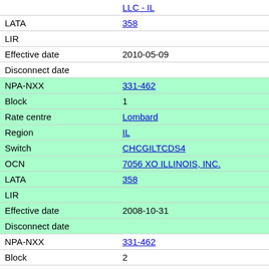| Field | Value |
| --- | --- |
|  | LLC - IL |
| LATA | 358 |
| LIR |  |
| Effective date | 2010-05-09 |
| Disconnect date |  |
| NPA-NXX | 331-462 |
| Block | 1 |
| Rate centre | Lombard |
| Region | IL |
| Switch | CHCGILTCDS4 |
| OCN | 7056 XO ILLINOIS, INC. |
| LATA | 358 |
| LIR |  |
| Effective date | 2008-10-31 |
| Disconnect date |  |
| NPA-NXX | 331-462 |
| Block | 2 |
| Rate centre | Lombard |
| Region | IL |
| Switch | OKBRILDODS0 |
| OCN | 259E YMAX COMMUNICATIONS CORP - IL |